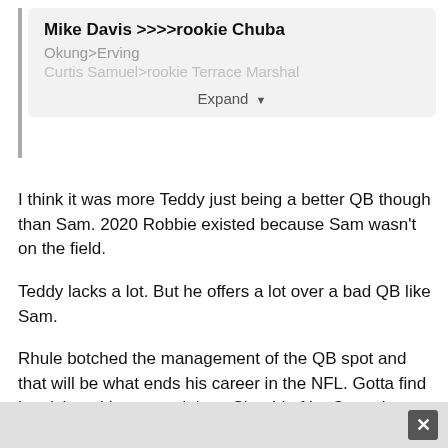Mike Davis >>>>rookie Chuba
Okung>Erving
Curtis Samuel>rookie Terrace Marshal
Expand
I think it was more Teddy just being a better QB though than Sam.   2020 Robbie existed because Sam wasn't on the field.
Teddy lacks a lot.  But he offers a lot over a bad QB like Sam.
Rhule botched the management of the QB spot and that will be what ends his career in the NFL.  Gotta find it quick and he wasted time.  Should of let Cam play out that last year of his deal and drafted a kid that year.